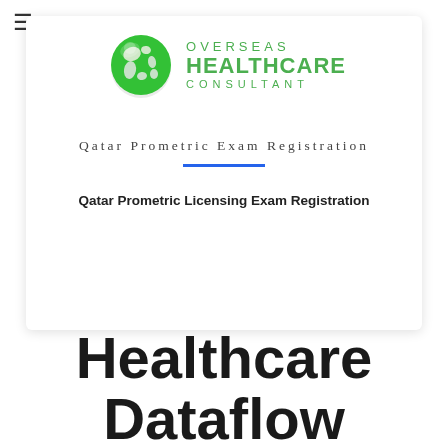≡
[Figure (logo): Overseas Healthcare Consultant logo with green globe and green text reading OVERSEAS HEALTHCARE CONSULTANT]
Qatar Prometric Exam Registration
Qatar Prometric Licensing Exam Registration
Healthcare Dataflow Process